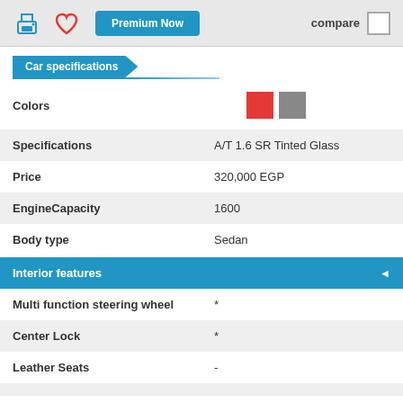[Figure (infographic): Top action bar with print icon, heart/favorite icon, 'Premium Now' blue button, and a 'compare' checkbox on the right]
Car specifications
Colors
| Specification | Value |
| --- | --- |
| Specifications | A/T 1.6 SR Tinted Glass |
| Price | 320,000 EGP |
| EngineCapacity | 1600 |
| Body type | Sedan |
Interior features
| Feature | Value |
| --- | --- |
| Multi function steering wheel | * |
| Center Lock | * |
| Leather Seats | - |